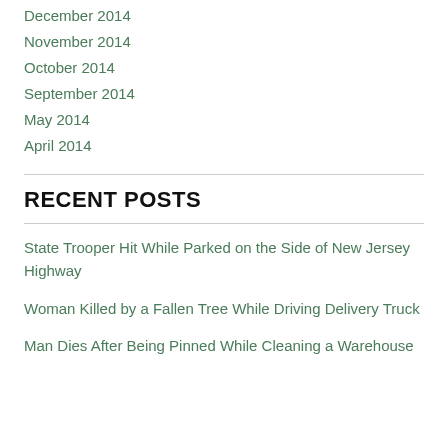December 2014
November 2014
October 2014
September 2014
May 2014
April 2014
RECENT POSTS
State Trooper Hit While Parked on the Side of New Jersey Highway
Woman Killed by a Fallen Tree While Driving Delivery Truck
Man Dies After Being Pinned While Cleaning a Warehouse